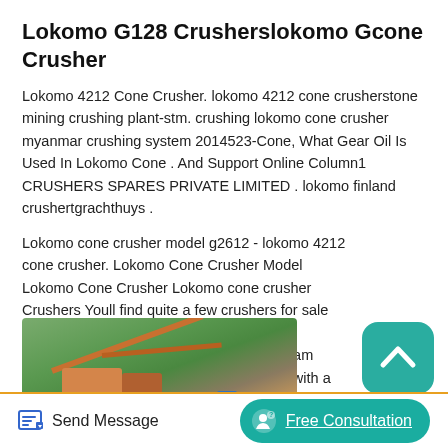Lokomo G128 Crusherslokomo Gcone Crusher
Lokomo 4212 Cone Crusher. lokomo 4212 cone crusherstone mining crushing plant-stm. crushing lokomo cone crusher myanmar crushing system 2014523-Cone, What Gear Oil Is Used In Lokomo Cone . And Support Online Column1 CRUSHERS SPARES PRIVATE LIMITED . lokomo finland crushertgrachthuys .
Lokomo cone crusher model g2612 - lokomo 4212 cone crusher. Lokomo Cone Crusher Model Lokomo Cone Crusher Lokomo cone crusher Crushers Youll find quite a few crushers for sale on MachineryTra one of the most mon manufacturers is The panys LT1213 for exam mobile impact crushing plant that es plete with a engine for high level performance on the worksite Other.
[Figure (photo): Photograph of a cone crusher or mining crushing plant machinery with brown/orange mechanical components against a green forested hillside background.]
Send Message
Free Consultation